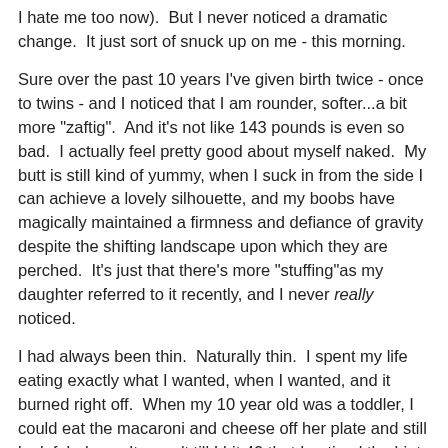I hate me too now).  But I never noticed a dramatic change.  It just sort of snuck up on me - this morning.
Sure over the past 10 years I've given birth twice - once to twins - and I noticed that I am rounder, softer...a bit more "zaftig".  And it's not like 143 pounds is even so bad.  I actually feel pretty good about myself naked.  My butt is still kind of yummy, when I suck in from the side I can achieve a lovely silhouette, and my boobs have magically maintained a firmness and defiance of gravity despite the shifting landscape upon which they are perched.  It's just that there's more "stuffing"as my daughter referred to it recently, and I never really noticed.
I had always been thin.  Naturally thin.  I spent my life eating exactly what I wanted, when I wanted, and it burned right off.  When my 10 year old was a toddler, I could eat the macaroni and cheese off her plate and still look fabulous.  It wasn't till I hit 40 that I noticed the hint of Spaghettios on my butt.  But I chalked it up to just not having a lot of time to exercise.  I could get rid of it whenever I wanted to.  Or so I thought.